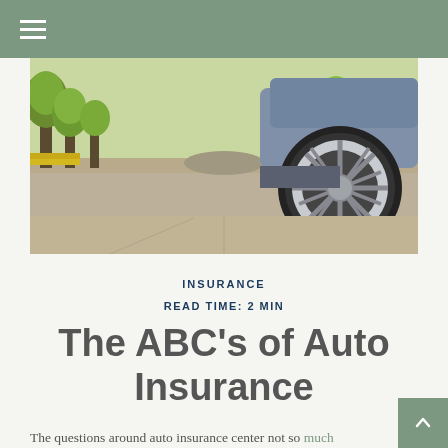[Figure (photo): Close-up of a car wheel on a road with tree-lined avenue in the background, bright sunny day]
INSURANCE
READ TIME: 2 MIN
The ABC's of Auto Insurance
The questions around auto insurance center not so much